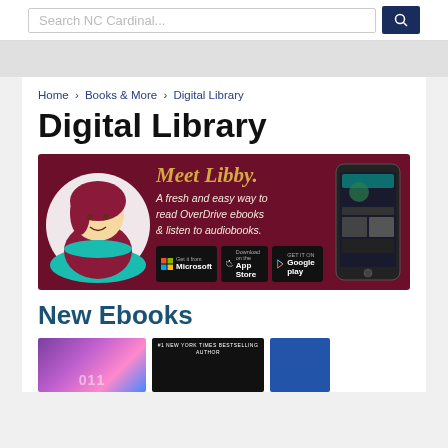Search NC Cardinal...
Home › Books & More › Digital Library
Digital Library
[Figure (illustration): Meet Libby banner advertisement. Dark maroon background with illustrated character (Libby) in a circle on the left, text 'Meet Libby. A fresh and easy way to read OverDrive ebooks & listen to audiobooks.' in center, app store download badges (Microsoft, App Store, Google Play), and smartphone screenshot on the right.]
New Ebooks
[Figure (photo): Book cover thumbnails: a colorful purple/pink book cover, a dark book cover with '#1 NEW YORK TIMES BESTSELLING AUTHOR' label, and a partial blue book cover.]